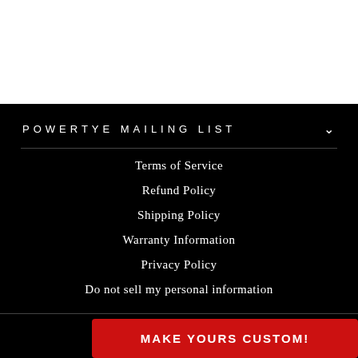POWERTYE MAILING LIST
Terms of Service
Refund Policy
Shipping Policy
Warranty Information
Privacy Policy
Do not sell my personal information
MAKE YOURS CUSTOM!